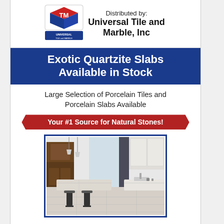[Figure (logo): Universal Tile and Marble logo with red and blue cube design]
Distributed by:
Universal Tile and Marble, Inc
Exotic Quartzite Slabs Available in Stock
Large Selection of Porcelain Tiles and Porcelain Slabs Available
Your #1 Source for Natural Stones!
[Figure (photo): Modern kitchen interior with marble countertops, dark wood cabinets, island with bar stools]
Thank you